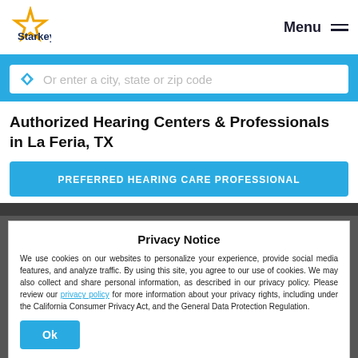Starkey | Menu
Or enter a city, state or zip code
Authorized Hearing Centers & Professionals in La Feria, TX
PREFERRED HEARING CARE PROFESSIONAL
Privacy Notice
We use cookies on our websites to personalize your experience, provide social media features, and analyze traffic. By using this site, you agree to our use of cookies. We may also collect and share personal information, as described in our privacy policy. Please review our privacy policy for more information about your privacy rights, including under the California Consumer Privacy Act, and the General Data Protection Regulation.
Ok